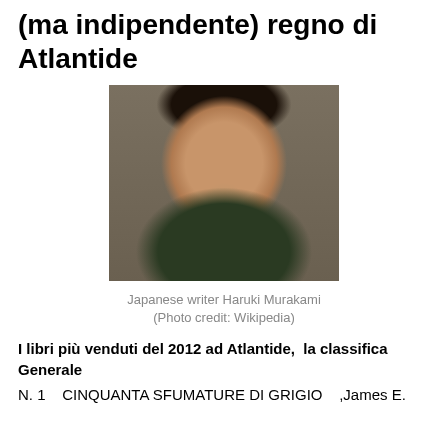(ma indipendente) regno di Atlantide
[Figure (photo): Japanese writer Haruki Murakami wearing a dark green sweater, seated in front of a microphone, against a neutral background. Photo credit: Wikipedia.]
Japanese writer Haruki Murakami (Photo credit: Wikipedia)
I libri più venduti del 2012 ad Atlantide,  la classifica Generale
N. 1    CINQUANTA SFUMATURE DI GRIGIO    ,James E.